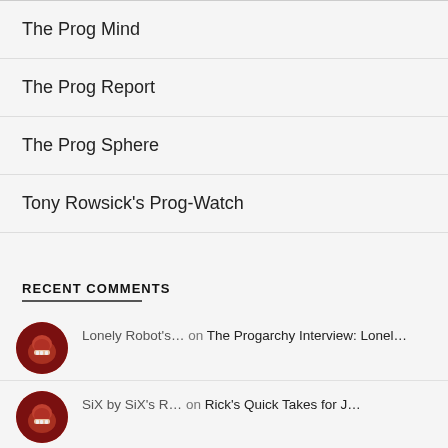The Prog Mind
The Prog Report
The Prog Sphere
Tony Rowsick's Prog-Watch
RECENT COMMENTS
Lonely Robot's… on The Progarchy Interview: Lonel…
SiX by SiX's R… on Rick's Quick Takes for J…